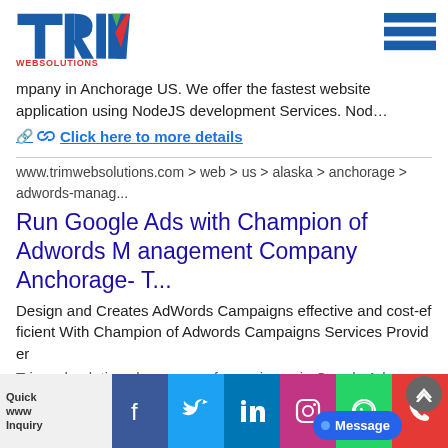[Figure (logo): TRIM WEBSOLUTIONS logo with T, R, I, M letters in blue/green/red and 'WEBSOLUTIONS' in red below]
mpany in Anchorage US. We offer the fastest website application using NodeJS development Services. Nod...
🔗 Click here to more details
www.trimwebsolutions.com > web > us > alaska > anchorage > adwords-manag...
Run Google Ads with Champion of Adwords Management Company Anchorage- T...
Design and Creates AdWords Campaigns effective and cost-efficient With Champion of Adwords Campaigns Services Provider
Trimwebsolutions has years of experience in Google Ads Mana...
🔗 Click here to more details
[Figure (infographic): Social media bar with Facebook, Twitter, LinkedIn, Instagram, WhatsApp, Phone icons; Quick Inquiry label on left; Message button on right]